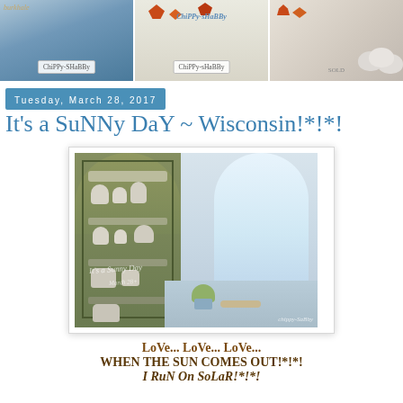[Figure (photo): Three header images side by side: left shows a person in denim with ChiPPy-SHaBBy label, middle shows autumn leaves with ChiPPy-sHaBBy label, right shows white garden ornaments with autumn leaves]
Tuesday, March 28, 2017
It's a SuNNy DaY ~ Wisconsin!*!*!
[Figure (photo): Interior photo of a vintage green arched cabinet with white dishes/crockery on shelves, next to a bright window with a view of bare trees outside, a plant and items on a counter below the window. Watermark text reads 'It's a Sunny Day' and 'chippy-SaBBy']
LoVe... LoVe... LoVe... WHEN THE SUN COMES OUT!*!*! I RuN On SoLaR!*!*!